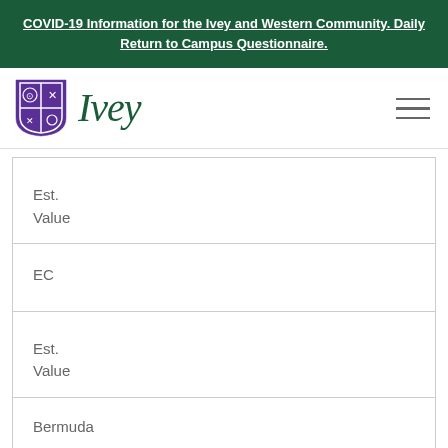COVID-19 Information for the Ivey and Western Community. Daily Return to Campus Questionnaire.
[Figure (logo): Ivey Business School logo with purple shield crest and green IVEY wordmark]
Est.
Value
EC
Est.
Value
Bermuda